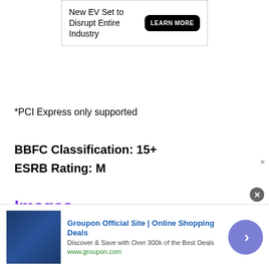[Figure (other): Advertisement banner: New EV Set to Disrupt Entire Industry with LEARN MORE button]
*PCI Express only supported
BBFC Classification: 15+
ESRB Rating: M
Images
[Figure (screenshot): Assassin's Creed - Screenshot 1 (broken image placeholder)]
[Figure (screenshot): Assassin's Creed - Screenshot 2 (broken image placeholder)]
[Figure (other): Groupon advertisement banner at bottom: Groupon Official Site | Online Shopping Deals. Discover & Save with Over 300k of the Best Deals. www.groupon.com]